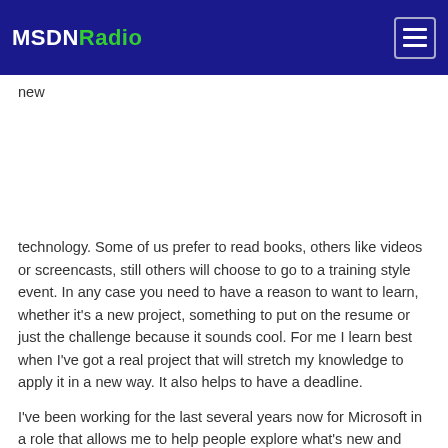MSDNRadio
new
technology. Some of us prefer to read books, others like videos or screencasts, still others will choose to go to a training style event. In any case you need to have a reason to want to learn, whether it's a new project, something to put on the resume or just the challenge because it sounds cool. For me I learn best when I've got a real project that will stretch my knowledge to apply it in a new way. It also helps to have a deadline.
I've been working for the last several years now for Microsoft in a role that allows me to help people explore what's new and possible with the new releases of technology coming out at a rapid pace from client and web technologies like ASP.NET and Phone to user